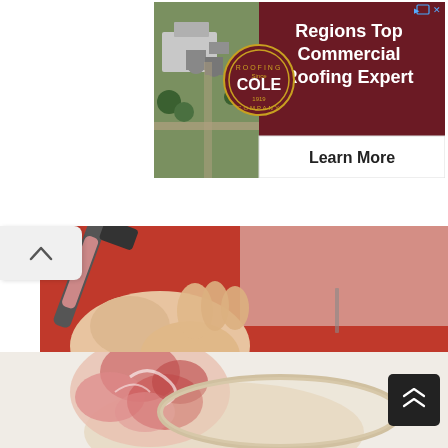[Figure (other): Advertisement banner for Cole Roofing Company. Left side shows aerial photo of commercial building, right side has dark red background with text 'Regions Top Commercial Roofing Expert' and white panel below with 'Learn More'. Cole Roofing circular logo in center.]
[Figure (photo): Close-up photo of hands using a hammer on a red surface with nails, appearing to be a DIY string heart ornament craft project.]
Captivating Romantic Diy String Heart Ornament That Will Make You ...
[Figure (photo): Partial photo of a decorative floral item with pink/red pattern on a light beige surface, partially visible at bottom of page.]